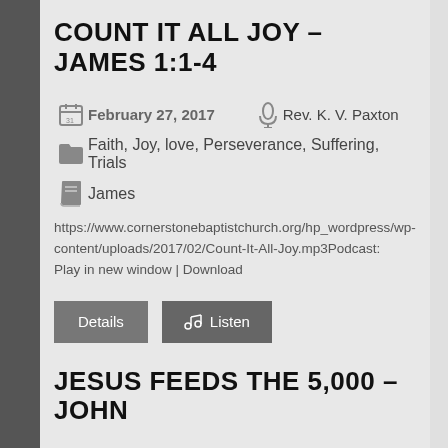COUNT IT ALL JOY – JAMES 1:1-4
February 27, 2017   Rev. K. V. Paxton
Faith, Joy, love, Perseverance, Suffering, Trials
James
https://www.cornerstonebaptistchurch.org/hp_wordpress/wp-content/uploads/2017/02/Count-It-All-Joy.mp3Podcast: Play in new window | Download
Details   Listen
JESUS FEEDS THE 5,000 – JOHN